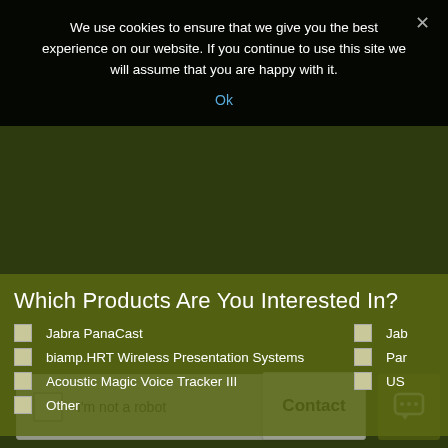We use cookies to ensure that we give you the best experience on our website. If you continue to use this site we will assume that you are happy with it.
Ok
Which Products Are You Interested In?
Jabra PanaCast
biamp.HRT Wireless Presentation Systems
Acoustic Magic Voice Tracker III
Other
Jab...
Pan...
US...
I'm not a robot
Contact